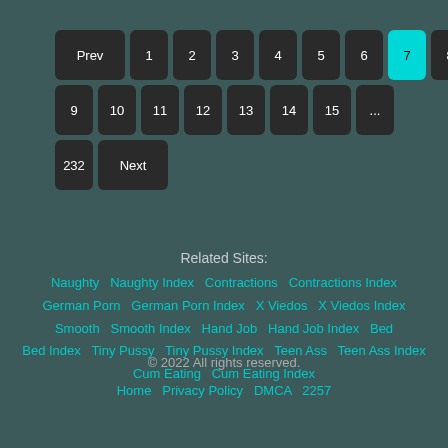Pagination: Prev 1 2 3 4 5 6 7(active) 8 9 10 11 12 13 14 15 ... 232 Next
Related Sites:
Naughty  Naughty Index  Contractions  Contractions Index  German Porn  German Porn Index  X Viedos  X Viedos Index  Smooth  Smooth Index  Hand Job  Hand Job Index  Bed  Bed Index  Tiny Pussy  Tiny Pussy Index  Teen Ass  Teen Ass Index  Cum Eating  Cum Eating Index
© 2022 All rights reserved.
Home  Privacy Policy  DMCA  2257